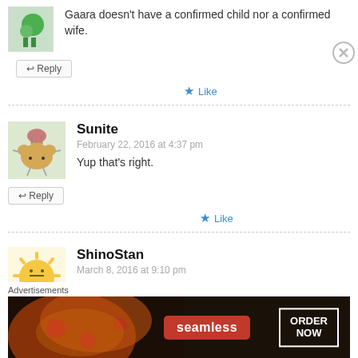Gaara doesn't have a confirmed child nor a confirmed wife.
↩ Reply
★ Like
Sunite
February 22, 2016 at 4:37 pm
Yup that's right.
↩ Reply
★ Like
ShinoStan
March 8, 2016 at 9:10 pm
Advertisements
[Figure (screenshot): Seamless food delivery advertisement banner with pizza image, seamless logo in red, and ORDER NOW button]